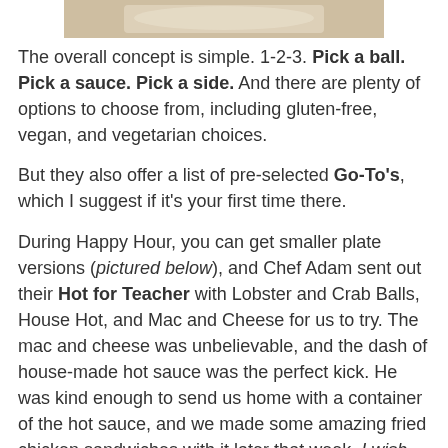[Figure (photo): Top portion of a food photo, partially cropped, showing a dish in a white bowl or plate.]
The overall concept is simple. 1-2-3. Pick a ball. Pick a sauce. Pick a side. And there are plenty of options to choose from, including gluten-free, vegan, and vegetarian choices.
But they also offer a list of pre-selected Go-To's, which I suggest if it's your first time there.
During Happy Hour, you can get smaller plate versions (pictured below), and Chef Adam sent out their Hot for Teacher with Lobster and Crab Balls, House Hot, and Mac and Cheese for us to try. The mac and cheese was unbelievable, and the dash of house-made hot sauce was the perfect kick. He was kind enough to send us home with a container of the hot sauce, and we made some amazing fried chicken sandwiches with it later that week. I wish they'd bottle and sell the stuff.
[Figure (photo): Photo of a food dish showing a breaded ball (lobster and crab) topped with green herbs, served on top of mac and cheese.]